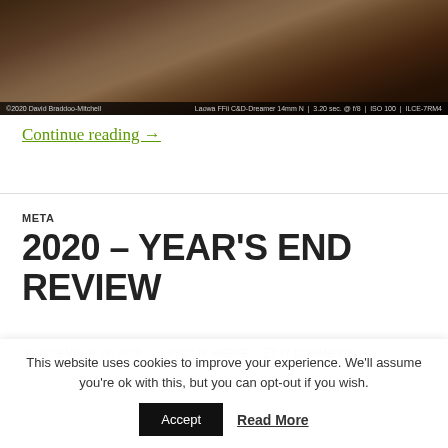[Figure (photo): Dark interior photograph of a room with wooden floors, a red patterned rug, and furniture. Black caption bar at bottom reads: ©2020 David Braddoo-Mitchell | Laowa FFii C&D-Dreamer 14mm N | 3.20 sec. @ f/8 | ISO 100 | ILCE-7RM4]
Continue reading →
META
2020 – YEAR'S END REVIEW
© DECEMBER 28, 2020   ✎ PHILLIP REEVE   💬 37 COMMENTS
This website uses cookies to improve your experience. We'll assume you're ok with this, but you can opt-out if you wish.
Accept   Read More